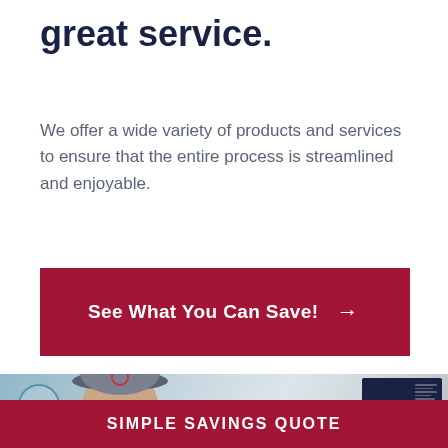great service.
We offer a wide variety of products and services to ensure that the entire process is streamlined and enjoyable.
See What You Can Save! →
[Figure (photo): A smiling man wearing a cap and glasses at what appears to be an insurance or financial services counter, with a Handshake branded display screen visible in the background.]
Simple Savings Quote